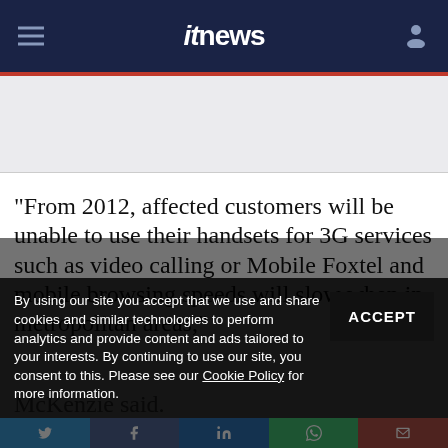itnews
"From 2012, affected customers will be unable to use their handsets for 3G services such as video calling or Mobile Foxtel and mobile browsing speeds will slow when in metropolitan areas," McKenzie said.
By using our site you accept that we use and share cookies and similar technologies to perform analytics and provide content and ads tailored to your interests. By continuing to use our site, you consent to this. Please see our Cookie Policy for more information.